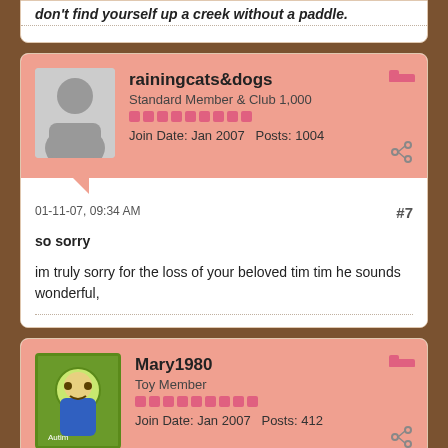don't find yourself up a creek without a paddle.
rainingcats&dogs
Standard Member & Club 1,000
Join Date: Jan 2007    Posts: 1004
01-11-07, 09:34 AM
#7
so sorry
im truly sorry for the loss of your beloved tim tim he sounds wonderful,
Mary1980
Toy Member
Join Date: Jan 2007    Posts: 412
01-11-07, 10:48 AM
#8